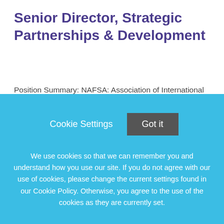Senior Director, Strategic Partnerships & Development
Position Summary:  NAFSA: Association of International Educators invites applications from highly motivated and dynamic individuals to join our team as the Senior Director, Strategic Partnerships & Development. Founded
This job listing is no longer active.
Cookie Settings   Got it
We use cookies so that we can remember you and understand how you use our site. If you do not agree with our use of cookies, please change the current settings found in our Cookie Policy. Otherwise, you agree to the use of the cookies as they are currently set.